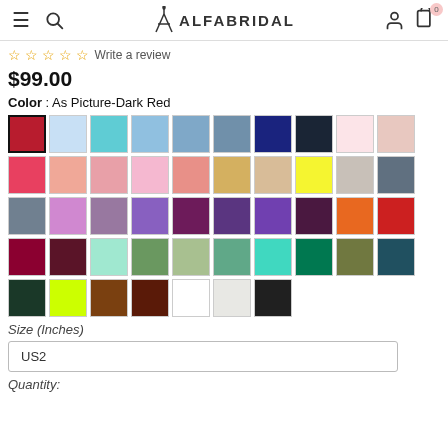ALFABRIDAL
☆☆☆☆☆ Write a review
$99.00
Color : As Picture-Dark Red
[Figure (other): Color swatches grid showing 47 color options for dress selection. First swatch (dark red) is selected with a black border.]
Size (Inches)
US2
Quantity: